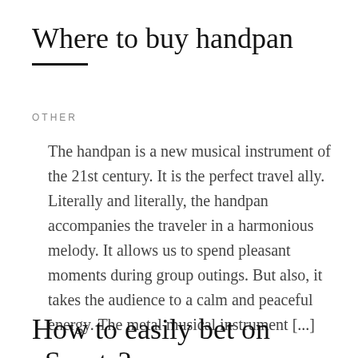Where to buy handpan
OTHER
The handpan is a new musical instrument of the 21st century. It is the perfect travel ally. Literally and literally, the handpan accompanies the traveler in a harmonious melody. It allows us to spend pleasant moments during group outings. But also, it takes the audience to a calm and peaceful energy. The metal musical instrument [...]
How to easily bet on eSports?